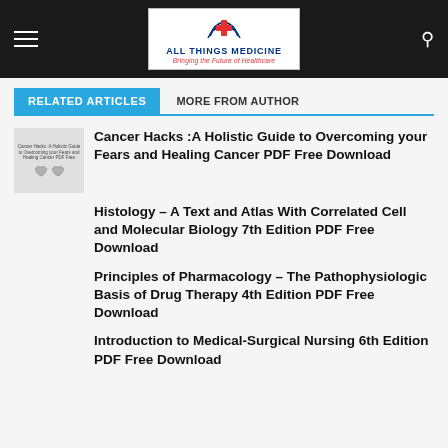All Things Medicine — Bringing the Future of Healthcare
RELATED ARTICLES | MORE FROM AUTHOR
Cancer Hacks :A Holistic Guide to Overcoming your Fears and Healing Cancer PDF Free Download
Histology – A Text and Atlas With Correlated Cell and Molecular Biology 7th Edition PDF Free Download
Principles of Pharmacology – The Pathophysiologic Basis of Drug Therapy 4th Edition PDF Free Download
Introduction to Medical-Surgical Nursing 6th Edition PDF Free Download